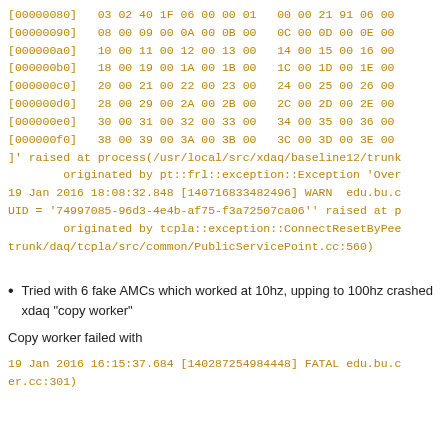[00000080]   03 02 40 1F 06 00 00 01   00 00 21 91 06 00
[00000090]   08 00 09 00 0A 00 0B 00   0C 00 0D 00 0E 00
[000000a0]   10 00 11 00 12 00 13 00   14 00 15 00 16 00
[000000b0]   18 00 19 00 1A 00 1B 00   1C 00 1D 00 1E 00
[000000c0]   20 00 21 00 22 00 23 00   24 00 25 00 26 00
[000000d0]   28 00 29 00 2A 00 2B 00   2C 00 2D 00 2E 00
[000000e0]   30 00 31 00 32 00 33 00   34 00 35 00 36 00
[000000f0]   38 00 39 00 3A 00 3B 00   3C 00 3D 00 3E 00
]' raised at process(/usr/local/src/xdaq/baseline12/trunk
        originated by pt::frl::exception::Exception 'Over
19 Jan 2016 18:08:32.848 [140716833482496] WARN  edu.bu.c
UID = '74997085-96d3-4e4b-af75-f3a72507ca06'' raised at p
        originated by tcpla::exception::ConnectResetByPee
trunk/daq/tcpla/src/common/PublicServicePoint.cc:560)
Tried with 6 fake AMCs which worked at 10hz, upping to 100hz crashed xdaq "copy worker"
Copy worker failed with
19 Jan 2016 16:15:37.684 [140287254984448] FATAL edu.bu.c
er.cc:301)